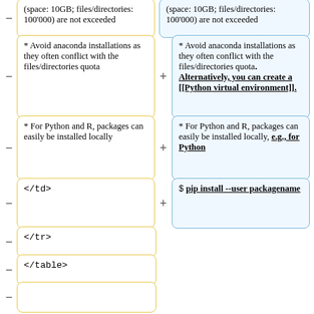(space: 10GB; files/directories: 100'000) are not exceeded
(space: 10GB; files/directories: 100'000) are not exceeded
* Avoid anaconda installations as they often conflict with the files/directories quota
* Avoid anaconda installations as they often conflict with the files/directories quota. Alternatively, you can create a [[Python virtual environment]].
* For Python and R, packages can easily be installed locally
* For Python and R, packages can easily be installed locally, e.g., for Python
</td>
$ pip install --user packagename
</tr>
</table>